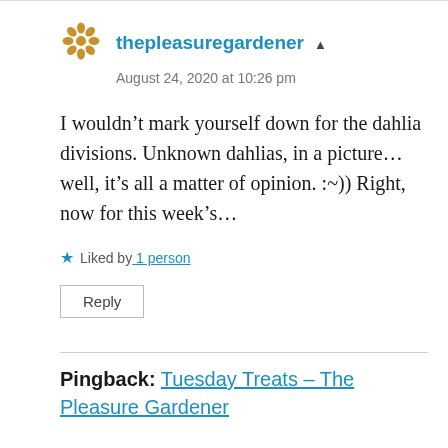[Figure (illustration): Golden/orange decorative flower/snowflake avatar icon for user thepleasuregardener]
thepleasuregardener
August 24, 2020 at 10:26 pm
I wouldn’t mark yourself down for the dahlia divisions. Unknown dahlias, in a picture… well, it’s all a matter of opinion. :~)) Right, now for this week’s…
★ Liked by 1 person
Reply
Pingback: Tuesday Treats – The Pleasure Gardener